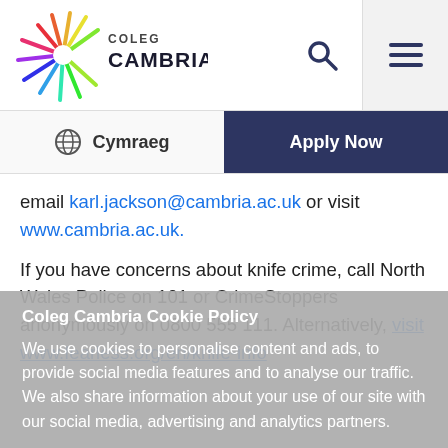[Figure (logo): Coleg Cambria logo with colorful sunburst rays and text COLEG CAMBRIA]
Search icon and hamburger menu icon in header navigation
Cymraeg (language toggle with globe icon) | Apply Now (dark blue button)
email karl.jackson@cambria.ac.uk or visit www.cambria.ac.uk.
If you have concerns about knife crime, call North Wales Police on 101 or CrimeStoppers anonymously on 0800 555 111. Alternatively, visit www.fearless.org/en/knife-info
Coleg Cambria Cookie Policy
We use cookies to personalise content and ads, to provide social media features and to analyse our traffic. We also share information about your use of our site with our social media, advertising and analytics partners.